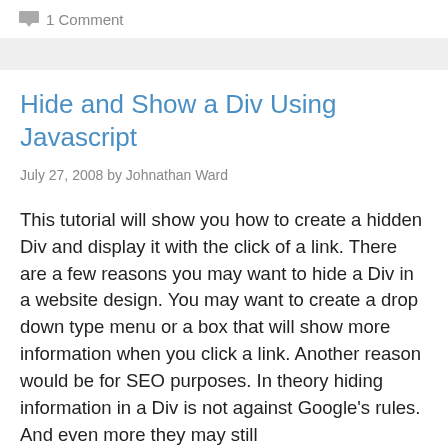1 Comment
Hide and Show a Div Using Javascript
July 27, 2008 by Johnathan Ward
This tutorial will show you how to create a hidden Div and display it with the click of a link. There are a few reasons you may want to hide a Div in a website design. You may want to create a drop down type menu or a box that will show more information when you click a link. Another reason would be for SEO purposes. In theory hiding information in a Div is not against Google's rules. And even more they may still